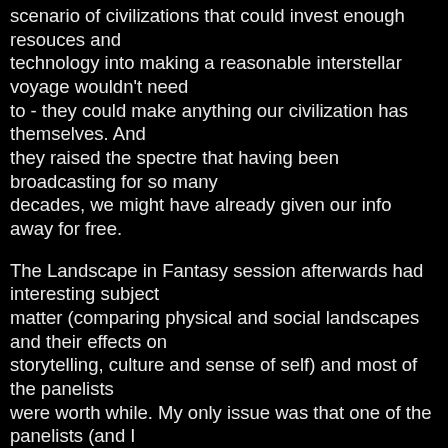scenario of civilizations that could invest enough resouces and technology into making a reasonable interstellar voyage wouldn't need to - they could make anything our civilization has themselves. And they raised the spectre that having been broadcasting for so many decades, we might have already given our info away for free.

The Landscape in Fantasy session afterwards had interesting subject matter (comparing physical and social landscapes and their effects on storytelling, culture and sense of self) and most of the panelists were worth while. My only issue was that one of the panelists (and I won't name any names) had a way of over-emphasizing every word that came out of her mouth that was gigantically pretentious - especially